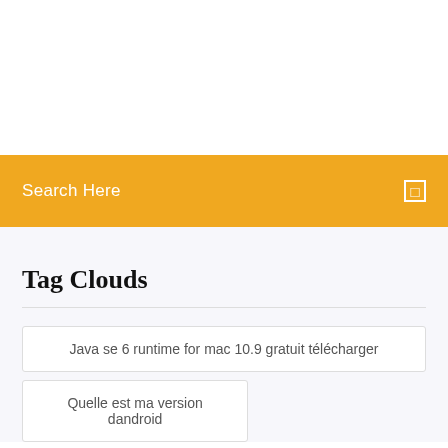[Figure (screenshot): White blank area at top of page]
Search Here
Tag Clouds
Java se 6 runtime for mac 10.9 gratuit télécharger
Quelle est ma version dandroid